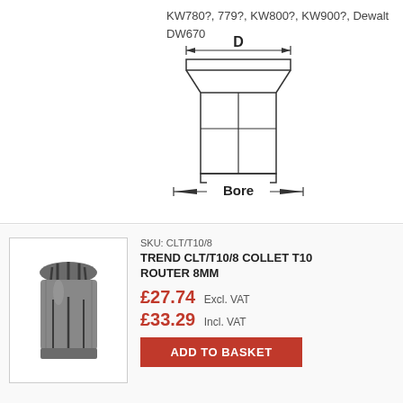KW780?, 779?, KW800?, KW900?, Dewalt DW670
[Figure (schematic): Technical schematic of a collet showing top view with dimension D labeled across the top with arrows, and bottom label showing Bore with arrows. The collet body is drawn with rectangular outline, tapered top section, vertical center slot, and a flat base.]
SKU: CLT/T10/8
[Figure (photo): Photo of a metallic collet T10 router 8mm, cylindrical shape with fluted top and smooth body, dark grey color.]
TREND CLT/T10/8 COLLET T10 ROUTER 8MM
£27.74 Excl. VAT
£33.29 Incl. VAT
ADD TO BASKET